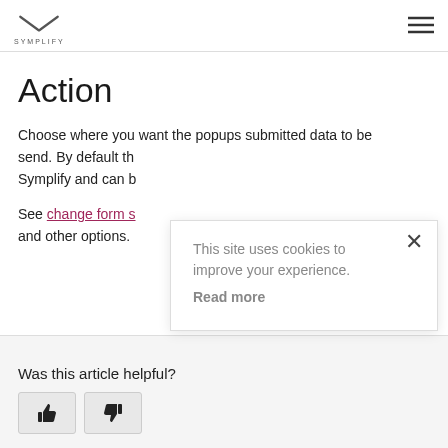SYMPLIFY
Action
Choose where you want the popups submitted data to be send. By default th Symplify and can b
See change form s and other options.
[Figure (screenshot): Cookie consent popup with X close button, text 'This site uses cookies to improve your experience. Read more']
Was this article helpful?
[Figure (other): Thumbs up and thumbs down buttons for article feedback]